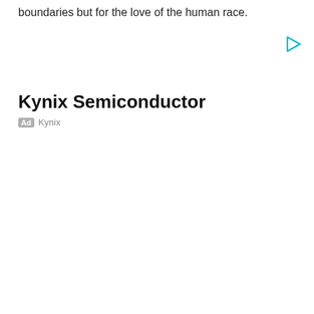boundaries but for the love of the human race.
[Figure (other): Cyan play button triangle icon in top right area]
Kynix Semiconductor
Ad Kynix